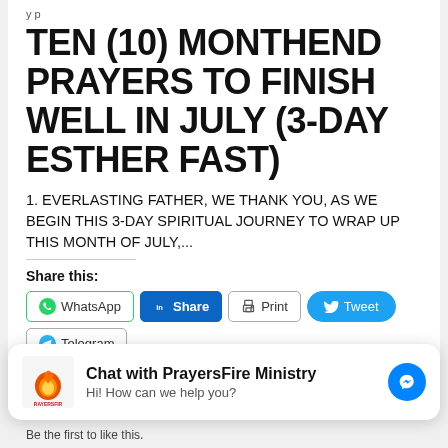TEN (10) MONTHEND PRAYERS TO FINISH WELL IN JULY (3-DAY ESTHER FAST)
1. EVERLASTING FATHER, WE THANK YOU, AS WE BEGIN THIS 3-DAY SPIRITUAL JOURNEY TO WRAP UP THIS MONTH OF JULY,...
Share this:
[Figure (screenshot): Social sharing buttons: WhatsApp, Share (LinkedIn), Print, Tweet (Twitter), Telegram]
[Figure (screenshot): Chat with PrayersFire Ministry banner with logo and messenger icon. Text: 'Chat with PrayersFire Ministry' and 'Hi! How can we help you?']
Be the first to like this.